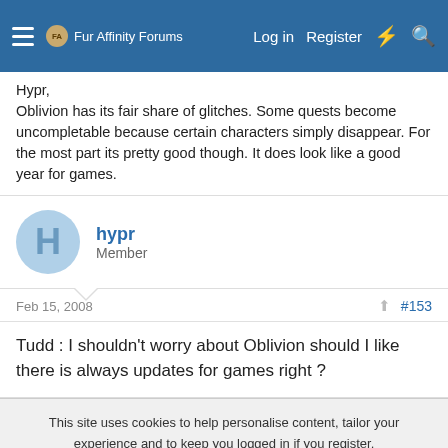Fur Affinity Forums  Log in  Register
Hypr,
Oblivion has its fair share of glitches. Some quests become uncompletable because certain characters simply disappear. For the most part its pretty good though. It does look like a good year for games.
hypr
Member
Feb 15, 2008  #153
Tudd : I shouldn't worry about Oblivion should I like there is always updates for games right ?
This site uses cookies to help personalise content, tailor your experience and to keep you logged in if you register.
By continuing to use this site, you are consenting to our use of cookies.